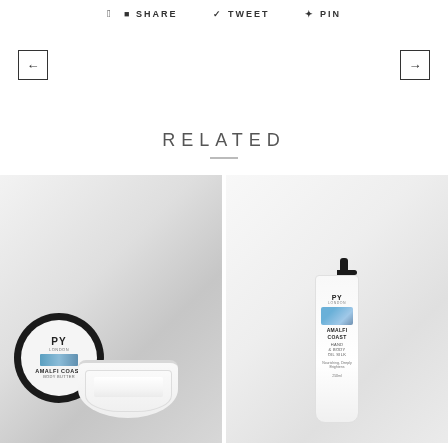SHARE   TWEET   PIN
← →
RELATED
[Figure (photo): Open jar of PY Amalfi Coast Body Butter with cream visible, product photograph on light background]
[Figure (photo): Pump bottle of PY Amalfi Coast Hand & Body Oil Silk product photograph on light background]